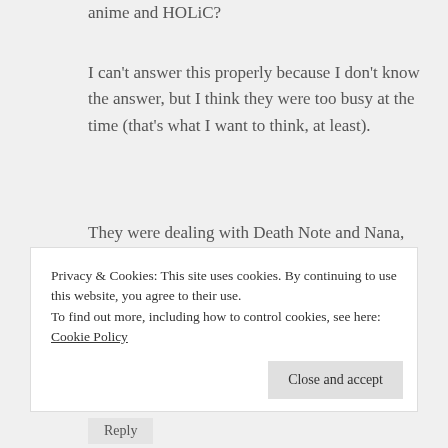anime and HOLiC?
I can't answer this properly because I don't know the answer, but I think they were too busy at the time (that's what I want to think, at least).
They were dealing with Death Note and Nana, which were two huge hits.
Maybe they couldn't handle Tsubasa AND XXXHOLiC, as much awesome as
Privacy & Cookies: This site uses cookies. By continuing to use this website, you agree to their use.
To find out more, including how to control cookies, see here: Cookie Policy
Close and accept
Reply